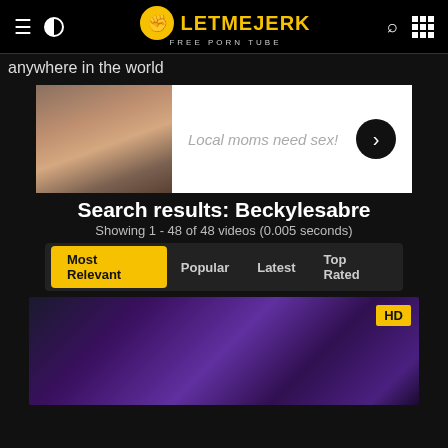LetMeJerk Free Porn Tube
anywhere in the world
[Figure (photo): Adult advertisement banner with image on left and text 'Local moms need sex!' on right with arrow button]
Search results: Beckylesabre
Showing 1 - 48 of 48 videos (0.005 seconds)
Most Relevant | Popular | Latest | Top Rated
[Figure (photo): HD video thumbnail showing adult content with HD badge in top right corner]